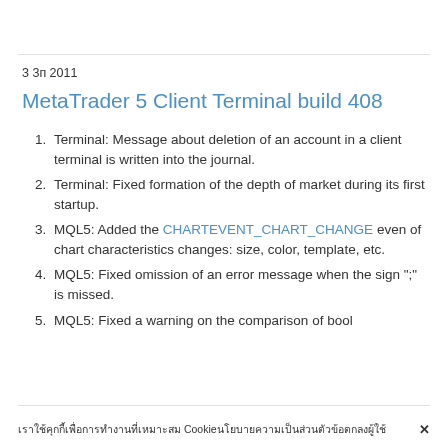3 3п 2011
MetaTrader 5 Client Terminal build 408
Terminal: Message about deletion of an account in a client terminal is written into the journal.
Terminal: Fixed formation of the depth of market during its first startup.
MQL5: Added the CHARTEVENT_CHART_CHANGE even of chart characteristics changes: size, color, template, etc.
MQL5: Fixed omission of an error message when the sign ";" is missed.
MQL5: Fixed a warning on the comparison of bool
เราใช้คุกกี้เพื่อการทำงานที่เหมาะสม Cookie นโยบายความเป็นส่วนตัว ข้อตกลงผู้ใช้ ✕